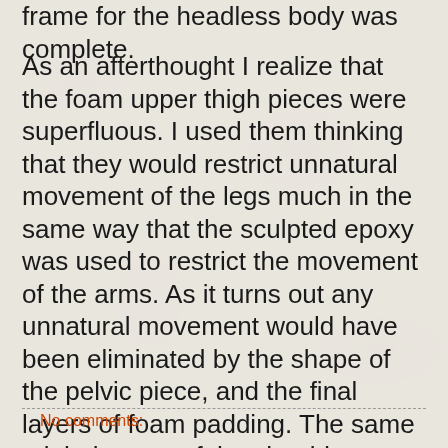frame for the headless body was complete.
As an afterthought I realize that the foam upper thigh pieces were superfluous. I used them thinking that they would restrict unnatural movement of the legs much in the same way that the sculpted epoxy was used to restrict the movement of the arms. As it turns out any unnatural movement would have been eliminated by the shape of the pelvic piece, and the final layers of foam padding. The same might be true of the shoulder sockets but of this I'm not so sure. It would have been better to have had a little more flexibility in the end.
No comments: